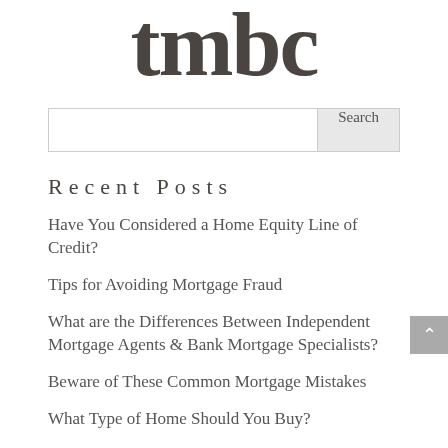[Figure (logo): TMBC logo text in large bold serif font, dark taupe color]
Recent Posts
Have You Considered a Home Equity Line of Credit?
Tips for Avoiding Mortgage Fraud
What are the Differences Between Independent Mortgage Agents & Bank Mortgage Specialists?
Beware of These Common Mortgage Mistakes
What Type of Home Should You Buy?